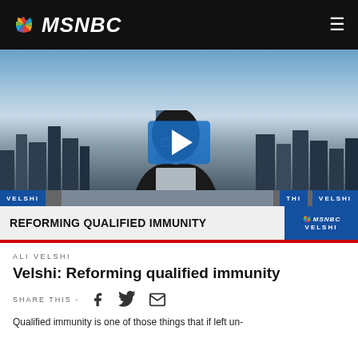MSNBC
[Figure (screenshot): MSNBC video thumbnail showing Ali Velshi in front of New York City skyline, with a blue play button overlay. Lower-third graphics read: VELSHI | REFORMING QUALIFIED IMMUNITY | MSNBC VELSHI]
ALI VELSHI
Velshi: Reforming qualified immunity
SHARE THIS -
Qualified immunity is one of those things that if left un-